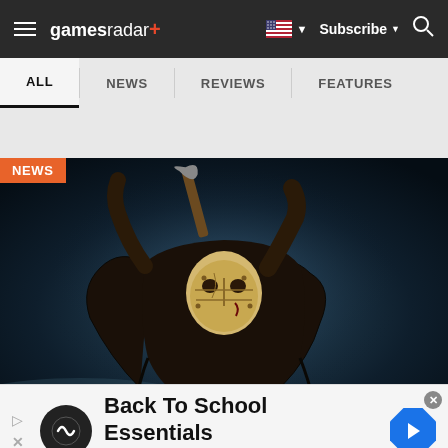gamesradar+ | Subscribe | Search
ALL | NEWS | REVIEWS | FEATURES
[Figure (screenshot): Screenshot of GamesRadar+ website showing a horror game or movie news article featuring a figure (Jason Voorhees-like character) in a hockey mask raising an axe overhead in a dark, moody scene. A NEWS badge appears in the upper-left corner of the image.]
Back To School Essentials
Leesburg Premium Outlets